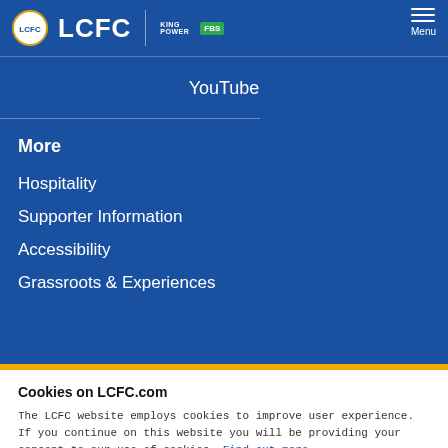LCFC | KING POWER FBS — Menu
YouTube
More
Hospitality
Supporter Information
Accessibility
Grassroots & Experiences
Cookies on LCFC.com
The LCFC website employs cookies to improve user experience. If you continue on this website you will be providing your consent to our use of cookies. Find out more
CONTINUE →